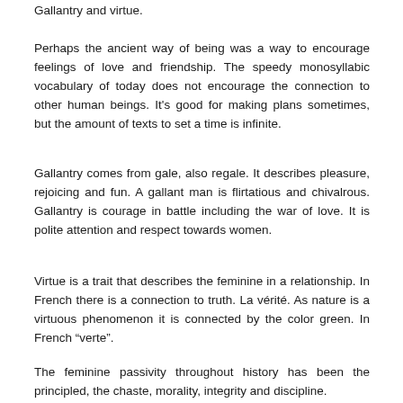Gallantry and virtue.
Perhaps the ancient way of being was a way to encourage feelings of love and friendship. The speedy monosyllabic vocabulary of today does not encourage the connection to other human beings. It's good for making plans sometimes, but the amount of texts to set a time is infinite.
Gallantry comes from gale, also regale. It describes pleasure, rejoicing and fun. A gallant man is flirtatious and chivalrous. Gallantry is courage in battle including the war of love. It is polite attention and respect towards women.
Virtue is a trait that describes the feminine in a relationship. In French there is a connection to truth. La vérité. As nature is a virtuous phenomenon it is connected by the color green. In French “verte”.
The feminine passivity throughout history has been the principled, the chaste, morality, integrity and discipline.